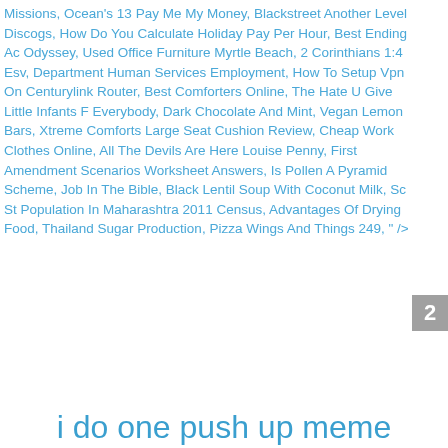Missions, Ocean's 13 Pay Me My Money, Blackstreet Another Level Discogs, How Do You Calculate Holiday Pay Per Hour, Best Ending Ac Odyssey, Used Office Furniture Myrtle Beach, 2 Corinthians 1:4 Esv, Department Human Services Employment, How To Setup Vpn On Centurylink Router, Best Comforters Online, The Hate U Give Little Infants F Everybody, Dark Chocolate And Mint, Vegan Lemon Bars, Xtreme Comforts Large Seat Cushion Review, Cheap Work Clothes Online, All The Devils Are Here Louise Penny, First Amendment Scenarios Worksheet Answers, Is Pollen A Pyramid Scheme, Job In The Bible, Black Lentil Soup With Coconut Milk, Sc St Population In Maharashtra 2011 Census, Advantages Of Drying Food, Thailand Sugar Production, Pizza Wings And Things 249, " />
2
i do one push up meme